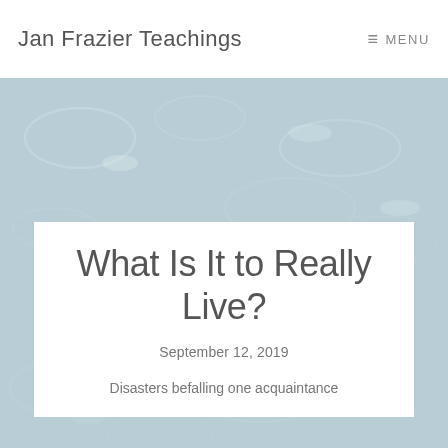Jan Frazier Teachings   ≡ MENU
[Figure (photo): Aerial or shallow-water photo of clear, rippled water surface with light reflections, serving as a decorative hero image background.]
What Is It to Really Live?
September 12, 2019
Disasters befalling one acquaintance